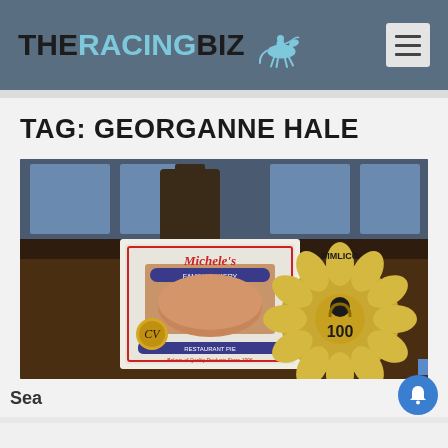THE RACING BIZ
TAG: GEORGANNE HALE
[Figure (photo): Photo showing a Michele's Family Bakery Restaurant Pie box next to a Pimlico 100th Anniversary decorative ceramic piece, on a wooden table with windows in the background.]
Sea